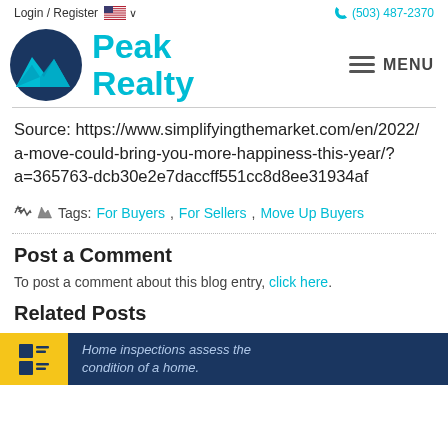Login / Register  🇺🇸 ∨   (503) 487-2370
[Figure (logo): Peak Realty logo with cyan mountain icon and 'Peak Realty' text in cyan, with hamburger menu icon and MENU text on the right]
Source: https://www.simplifyingthemarket.com/en/2022/a-move-could-bring-you-more-happiness-this-year/?a=365763-dcb30e2e7daccff551cc8d8ee31934af
Tags: For Buyers, For Sellers, Move Up Buyers
Post a Comment
To post a comment about this blog entry, click here.
Related Posts
[Figure (screenshot): Blue banner with checklist icon and text 'Home inspections assess the condition of a home.']